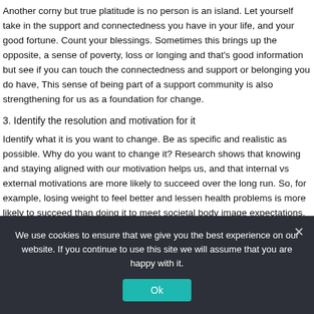Another corny but true platitude is no person is an island. Let yourself take in the support and connectedness you have in your life, and your good fortune. Count your blessings. Sometimes this brings up the opposite, a sense of poverty, loss or longing and that's good information but see if you can touch the connectedness and support or belonging you do have, This sense of being part of a support community is also strengthening for us as a foundation for change.
3. Identify the resolution and motivation for it
Identify what it is you want to change. Be as specific and realistic as possible. Why do you want to change it? Research shows that knowing and staying aligned with our motivation helps us, and that internal vs external motivations are more likely to succeed over the long run. So, for example, losing weight to feel better and lessen health problems is more likely to succeed than doing it to meet societal body image expectations.
We use cookies to ensure that we give you the best experience on our website. If you continue to use this site we will assume that you are happy with it.